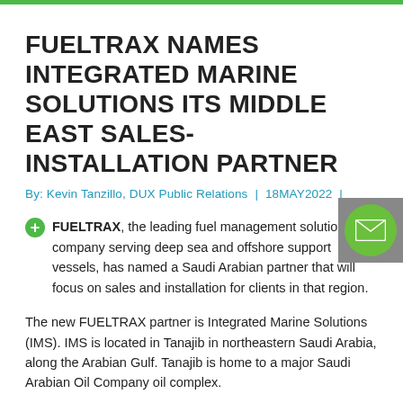FUELTRAX NAMES INTEGRATED MARINE SOLUTIONS ITS MIDDLE EAST SALES-INSTALLATION PARTNER
By: Kevin Tanzillo, DUX Public Relations | 18MAY2022 |
FUELTRAX, the leading fuel management solutions company serving deep sea and offshore support vessels, has named a Saudi Arabian partner that will focus on sales and installation for clients in that region.
The new FUELTRAX partner is Integrated Marine Solutions (IMS). IMS is located in Tanajib in northeastern Saudi Arabia, along the Arabian Gulf. Tanajib is home to a major Saudi Arabian Oil Company oil complex.
IMS' technicians have been thoroughly trained by FUELTRAX and